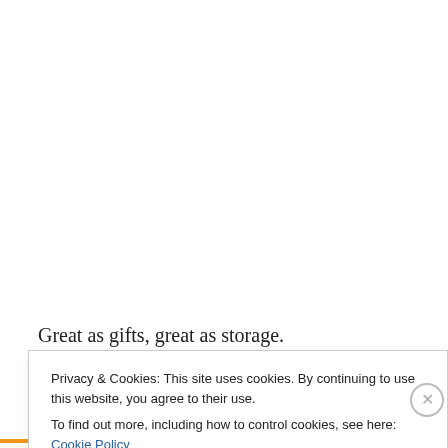Great as gifts, great as storage.
I'll be brutally honest and tell you I can't do any sports to save my life. Sometimes, I can't even walk properly! But in a world where
Privacy & Cookies: This site uses cookies. By continuing to use this website, you agree to their use.
To find out more, including how to control cookies, see here: Cookie Policy
Close and accept